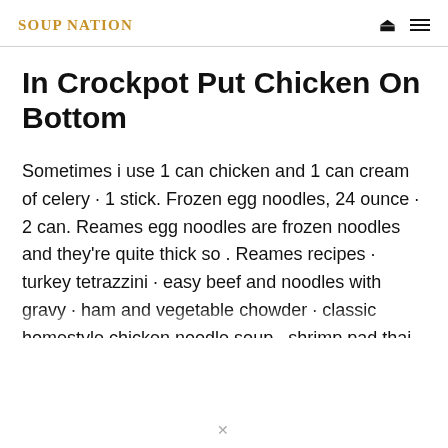SOUP NATION
In Crockpot Put Chicken On Bottom
Sometimes i use 1 can chicken and 1 can cream of celery · 1 stick. Frozen egg noodles, 24 ounce · 2 can. Reames egg noodles are frozen noodles and they're quite thick so . Reames recipes · turkey tetrazzini · easy beef and noodles with gravy · ham and vegetable chowder · classic homestyle chicken noodle soup · shrimp pad thai · asian . I'm partnering with